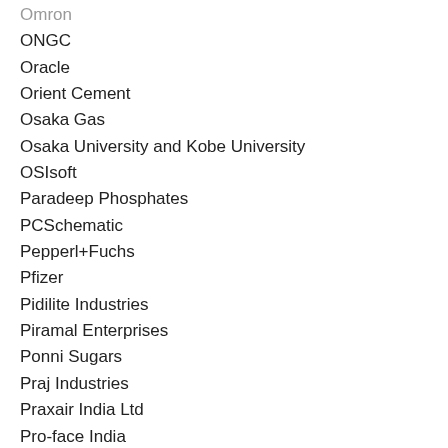Omron
ONGC
Oracle
Orient Cement
Osaka Gas
Osaka University and Kobe University
OSIsoft
Paradeep Phosphates
PCSchematic
Pepperl+Fuchs
Pfizer
Pidilite Industries
Piramal Enterprises
Ponni Sugars
Praj Industries
Praxair India Ltd
Pro-face India
Pyrotek